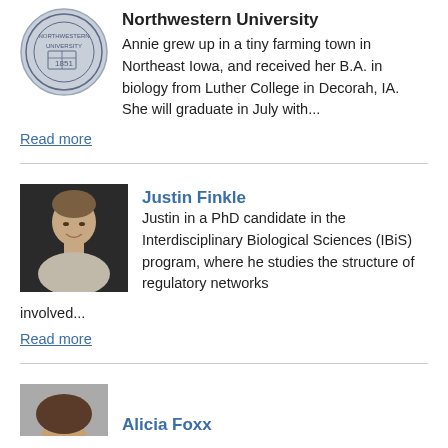[Figure (photo): Northwestern University seal/logo]
Northwestern University
Annie grew up in a tiny farming town in Northeast Iowa, and received her B.A. in biology from Luther College in Decorah, IA. She will graduate in July with...
Read more
[Figure (photo): Photo of Justin Finkle, a young man smiling]
Justin Finkle
Justin in a PhD candidate in the Interdisciplinary Biological Sciences (IBiS) program, where he studies the structure of regulatory networks involved...
Read more
[Figure (photo): Partial photo of Alicia Foxx]
Alicia Foxx